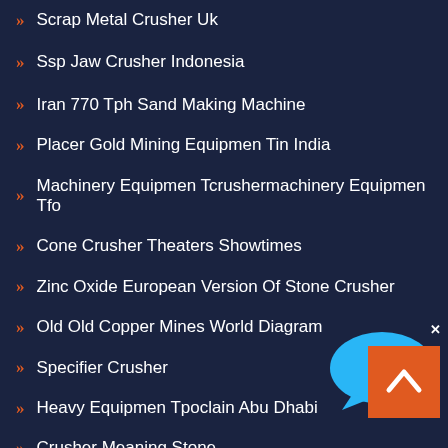Scrap Metal Crusher Uk
Ssp Jaw Crusher Indonesia
Iran 770 Tph Sand Making Machine
Placer Gold Mining Equipmen Tin India
Machinery Equipmen Tcrushermachinery Equipmen Tfo
Cone Crusher Theaters Showtimes
Zinc Oxide European Version Of Stone Crusher
Old Old Copper Mines World Diagram
Specifier Crusher
Heavy Equipmen Tpoclain Abu Dhabi
Crusher Meaning Stone